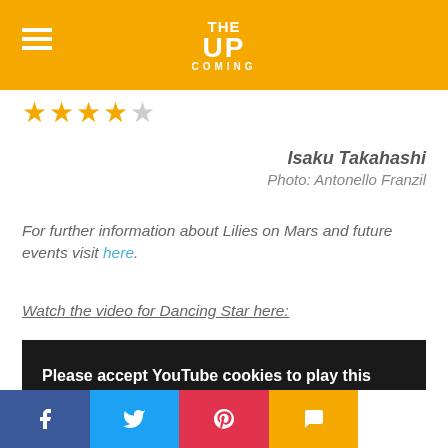THE UP COMING
★★★★★
Isaku Takahashi
Photo: Antonello Franzil
For further information about Lilies on Mars and future events visit here.
Watch the video for Dancing Star here:
[Figure (screenshot): YouTube cookie consent overlay on dark background with text: Please accept YouTube cookies to play this video. By accepting you will be accessing content from YouTube, a service provided by an external third party. YouTube privacy policy link.]
Social share buttons: Facebook, Twitter, Pinterest, Comment